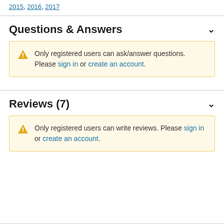2015, 2016, 2017
Questions & Answers
Only registered users can ask/answer questions. Please sign in or create an account.
Reviews (7)
Only registered users can write reviews. Please sign in or create an account.